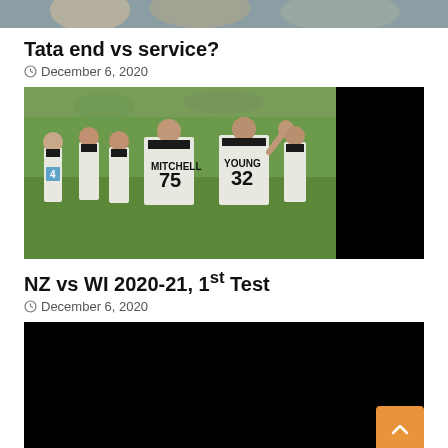[Figure (photo): Partial image at top of page, cropped, showing people]
Tata end vs service?
December 6, 2020
[Figure (photo): Cricket players in white uniforms on field, players include MITCHELL 75 and YOUNG 32, with black rectangle on right side]
NZ vs WI 2020-21, 1st Test
December 6, 2020
[Figure (photo): Mostly black/dark image at bottom of page]